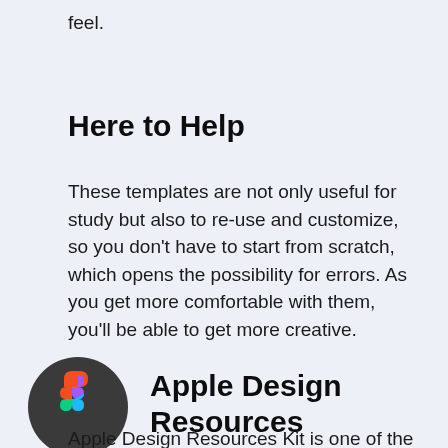feel.
Here to Help
These templates are not only useful for study but also to re-use and customize, so you don't have to start from scratch, which opens the possibility for errors. As you get more comfortable with them, you'll be able to get more creative.
[Figure (logo): Figma logo icon — dark circular background with multicolor Figma 'F' symbol]
Apple Design Resources
Apple Design Resources Kit is one of the most